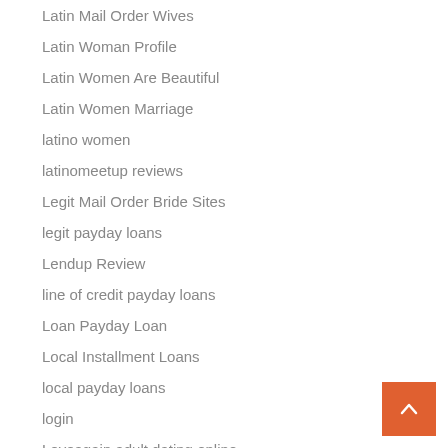Latin Mail Order Wives
Latin Woman Profile
Latin Women Are Beautiful
Latin Women Marriage
latino women
latinomeetup reviews
Legit Mail Order Bride Sites
legit payday loans
Lendup Review
line of credit payday loans
Loan Payday Loan
Local Installment Loans
local payday loans
login
Loveagain adult dating online